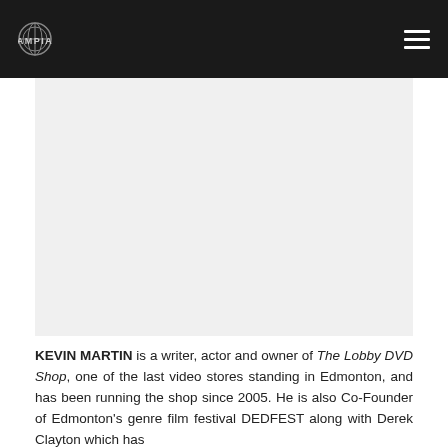AMPIA
[Figure (photo): Large image placeholder area, likely a photo of Kevin Martin, shown as a light gray rectangle]
KEVIN MARTIN is a writer, actor and owner of The Lobby DVD Shop, one of the last video stores standing in Edmonton, and has been running the shop since 2005. He is also Co-Founder of Edmonton's genre film festival DEDFEST along with Derek Clayton which has